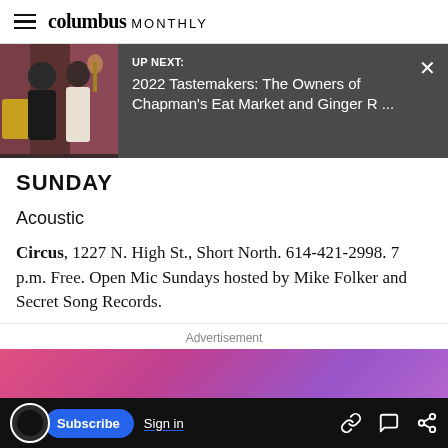columbus MONTHLY
[Figure (screenshot): UP NEXT banner with photo of two people (man and woman) in a restaurant setting, dark overlay panel with text: UP NEXT: 2022 Tastemakers: The Owners of Chapman's Eat Market and Ginger R ...]
SUNDAY
Acoustic
Circus, 1227 N. High St., Short North. 614-421-2998. 7 p.m. Free. Open Mic Sundays hosted by Mike Folker and Secret Song Records.
Advertisement
[Figure (illustration): Pink to purple gradient advertisement banner area]
Subscribe  Sign in